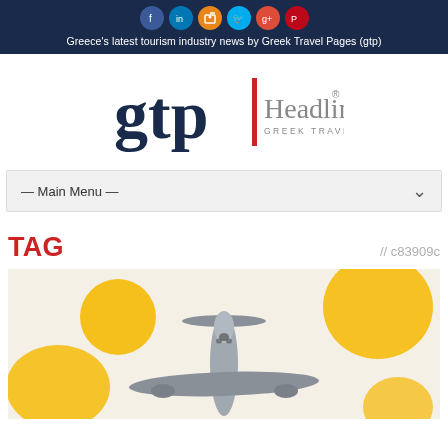Greece's latest tourism industry news by Greek Travel Pages (gtp)
[Figure (logo): GTP Headlines - Greek Travel Pages logo with red vertical bar separator]
— Main Menu —
TAG // c83909c
[Figure (photo): Airplane viewed from above/front against a light beige background with yellow/orange abstract blobs]